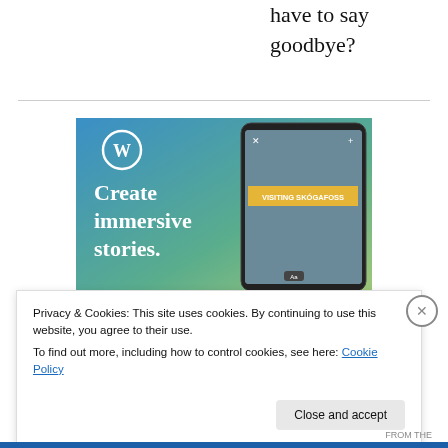have to say goodbye?
[Figure (illustration): WordPress advertisement showing 'Create immersive stories.' text on a blue gradient background with WordPress logo and a smartphone displaying a travel blog post about visiting Skógafoss waterfall.]
Privacy & Cookies: This site uses cookies. By continuing to use this website, you agree to their use.
To find out more, including how to control cookies, see here: Cookie Policy
Close and accept